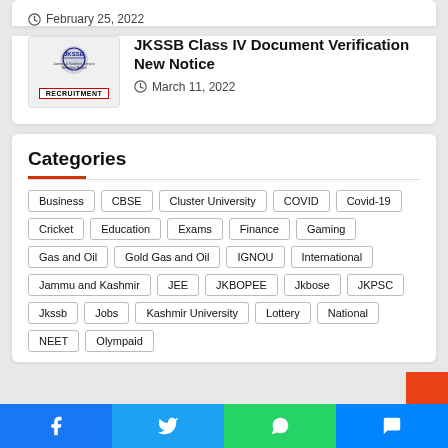February 25, 2022
[Figure (logo): JKSSB Recruitment logo with crest and RECRUITMENT label]
JKSSB Class IV Document Verification New Notice
March 11, 2022
Categories
Business
CBSE
Cluster University
COVID
Covid-19
Cricket
Education
Exams
Finance
Gaming
Gas and Oil
Gold Gas and Oil
IGNOU
International
Jammu and Kashmir
JEE
JKBOPEE
Jkbose
JKPSC
Jkssb
Jobs
Kashmir University
Lottery
National
NEET
Olympaid